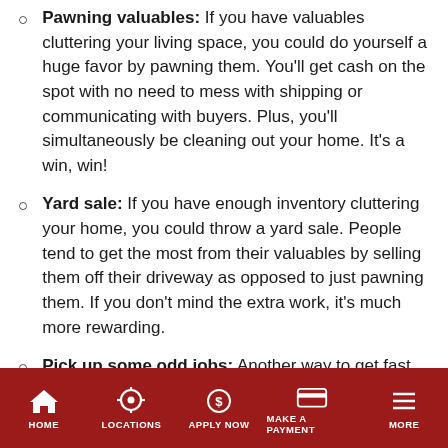Pawning valuables: If you have valuables cluttering your living space, you could do yourself a huge favor by pawning them. You'll get cash on the spot with no need to mess with shipping or communicating with buyers. Plus, you'll simultaneously be cleaning out your home. It's a win, win!
Yard sale: If you have enough inventory cluttering your home, you could throw a yard sale. People tend to get the most from their valuables by selling them off their driveway as opposed to just pawning them. If you don't mind the extra work, it's much more rewarding.
Pick up some odd jobs: Another way to get fast cash without taking out a loan is by picking up a few odd jobs. Search the ads on Craigslist or ask around your social circles (friends, family, neighbors, etc.)
Start a fundraiser: [partially visible]
HOME  LOCATIONS  APPLY NOW  MAKE A PAYMENT  MORE